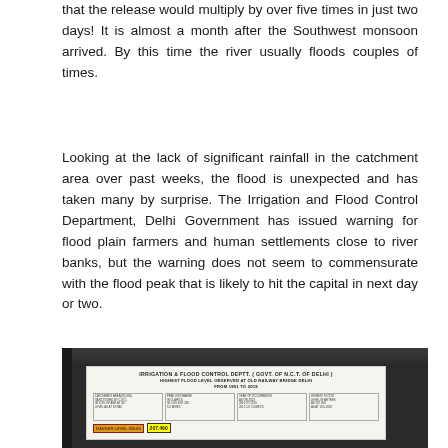that the release would multiply by over five times in just two days! It is almost a month after the Southwest monsoon arrived. By this time the river usually floods couples of times.
Looking at the lack of significant rainfall in the catchment area over past weeks, the flood is unexpected and has taken many by surprise. The Irrigation and Flood Control Department, Delhi Government has issued warning for flood plain farmers and human settlements close to river banks, but the warning does not seem to commensurate with the flood peak that is likely to hit the capital in next day or two.
[Figure (photo): A notice board from Irrigation & Flood Control Deptt. (Govt of N.C.T. of Delhi) showing highest flood level observed at Old Railway Bridge Delhi from 1951 to 2019. The board has columns with flood data, a danger level indicator in yellow/red, and a value of 207.490.]